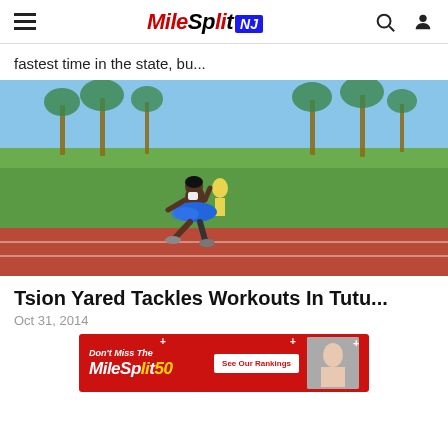MileSplit NJ
fastest time in the state, bu...
[Figure (photo): Runner in blue tutu sprinting on a red track with green field and palm trees in background]
Tsion Yared Tackles Workouts In Tutu...
Oct 31, 2014
[Figure (advertisement): Don't Miss The MileSplit50 See Our Rankings ad banner with runner photo]